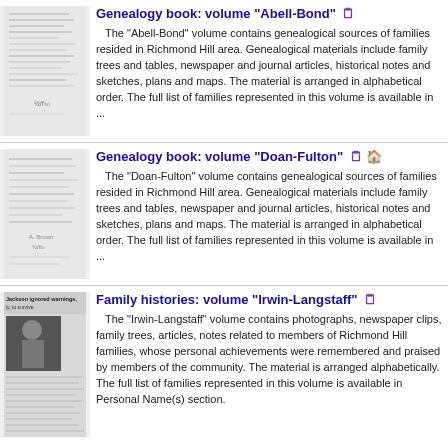[Figure (other): Thumbnail image of handwritten genealogy book pages for Abell-Bond volume]
Genealogy book: volume "Abell-Bond"
The "Abell-Bond" volume contains genealogical sources of families resided in Richmond Hill area. Genealogical materials include family trees and tables, newspaper and journal articles, historical notes and sketches, plans and maps. The material is arranged in alphabetical order. The full list of families represented in this volume is available in ...
[Figure (other): Thumbnail image of handwritten genealogy book pages for Doan-Fulton volume]
Genealogy book: volume "Doan-Fulton"
The "Doan-Fulton" volume contains genealogical sources of families resided in Richmond Hill area. Genealogical materials include family trees and tables, newspaper and journal articles, historical notes and sketches, plans and maps. The material is arranged in alphabetical order. The full list of families represented in this volume is available in ...
[Figure (photo): Thumbnail image showing newspaper clippings and photograph for Irwin-Langstaff family histories volume]
Family histories: volume "Irwin-Langstaff"
The "Irwin-Langstaff" volume contains photographs, newspaper clips, family trees, articles, notes related to members of Richmond Hill families, whose personal achievements were remembered and praised by members of the community. The material is arranged alphabetically. The full list of families represented in this volume is available in Personal Name(s) section.